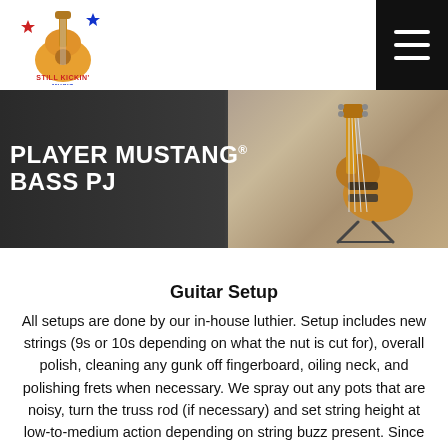Still Kickin Music — navigation header with logo and hamburger menu
[Figure (photo): Hero banner image showing a Fender Player Mustang Bass PJ guitar on a stand with white bold text overlay reading PLAYER MUSTANG BASS PJ]
Guitar Setup
All setups are done by our in-house luthier. Setup includes new strings (9s or 10s depending on what the nut is cut for), overall polish, cleaning any gunk off fingerboard, oiling neck, and polishing frets when necessary. We spray out any pots that are noisy, turn the truss rod (if necessary) and set string height at low-to-medium action depending on string buzz present. Since setup is highly subjective you may need to get it set to your particular needs